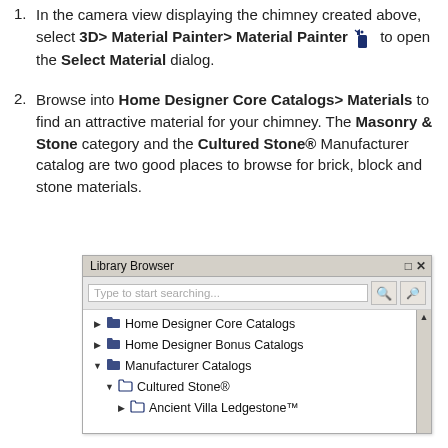1. In the camera view displaying the chimney created above, select 3D> Material Painter> Material Painter [icon] to open the Select Material dialog.
2. Browse into Home Designer Core Catalogs> Materials to find an attractive material for your chimney. The Masonry & Stone category and the Cultured Stone® Manufacturer catalog are two good places to browse for brick, block and stone materials.
[Figure (screenshot): Library Browser panel showing a tree structure: Home Designer Core Catalogs, Home Designer Bonus Catalogs, Manufacturer Catalogs (expanded) > Cultured Stone® (expanded) > Ancient Villa Ledgestone™]